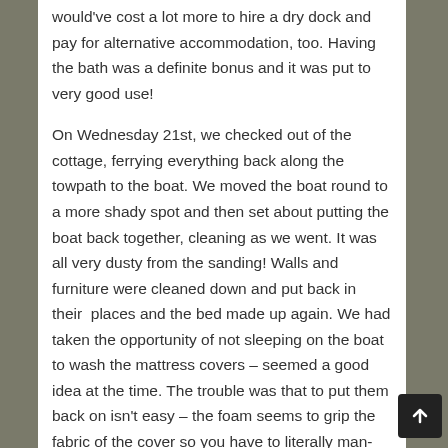would've cost a lot more to hire a dry dock and pay for alternative accommodation, too. Having the bath was a definite bonus and it was put to very good use!
On Wednesday 21st, we checked out of the cottage, ferrying everything back along the towpath to the boat. We moved the boat round to a more shady spot and then set about putting the boat back together, cleaning as we went. It was all very dusty from the sanding! Walls and furniture were cleaned down and put back in their places and the bed made up again. We had taken the opportunity of not sleeping on the boat to wash the mattress covers – seemed a good idea at the time. The trouble was that to put them back on isn't easy – the foam seems to grip the fabric of the cover so you have to literally man-handle it back on, and, after three days